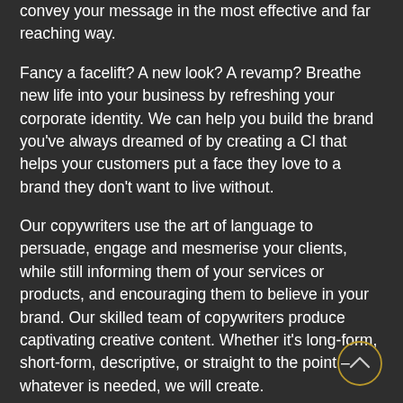the most elaborate and intricate, we have the skills to convey your message in the most effective and far reaching way.
Fancy a facelift? A new look? A revamp? Breathe new life into your business by refreshing your corporate identity. We can help you build the brand you've always dreamed of by creating a CI that helps your customers put a face they love to a brand they don't want to live without.
Our copywriters use the art of language to persuade, engage and mesmerise your clients, while still informing them of your services or products, and encouraging them to believe in your brand. Our skilled team of copywriters produce captivating creative content. Whether it's long-form, short-form, descriptive, or straight to the point – whatever is needed, we will create.